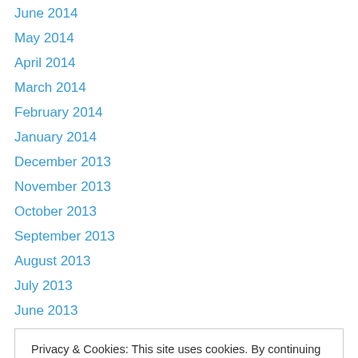June 2014
May 2014
April 2014
March 2014
February 2014
January 2014
December 2013
November 2013
October 2013
September 2013
August 2013
July 2013
June 2013
Privacy & Cookies: This site uses cookies. By continuing to use this website, you agree to their use. To find out more, including how to control cookies, see here: Cookie Policy
Close and accept
Podcast